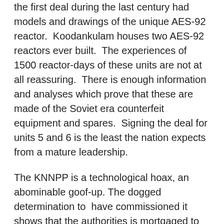the first deal during the last century had models and drawings of the unique AES-92 reactor.  Koodankulam houses two AES-92 reactors ever built.  The experiences of 1500 reactor-days of these units are not at all reassuring.  There is enough information and analyses which prove that these are made of the Soviet era counterfeit equipment and spares.  Signing the deal for units 5 and 6 is the least the nation expects from a mature leadership.
The KNNPP is a technological hoax, an abominable goof-up. The dogged determination to  have commissioned it shows that the authorities is mortgaged to alien corporate interests reminding us of  Andrew Undershaft in George Bernard Shaw, "Well, I am a millionaire and that is my religion". Undershaft is an arms